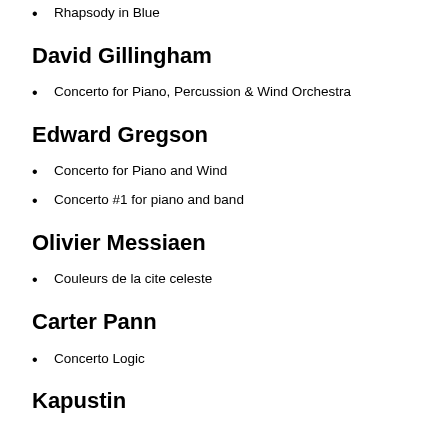Rhapsody in Blue
David Gillingham
Concerto for Piano, Percussion & Wind Orchestra
Edward Gregson
Concerto for Piano and Wind
Concerto #1 for piano and band
Olivier Messiaen
Couleurs de la cite celeste
Carter Pann
Concerto Logic
Kapustin